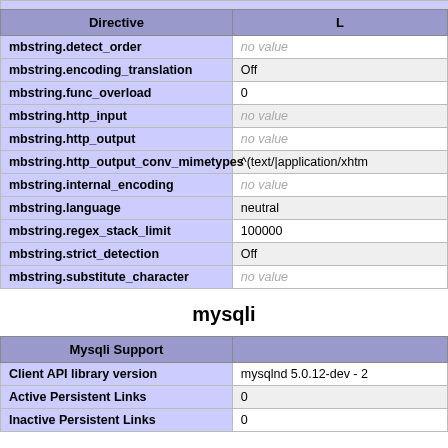| Directive | L(ocal Value) |
| --- | --- |
| mbstring.detect_order | no value |
| mbstring.encoding_translation | Off |
| mbstring.func_overload | 0 |
| mbstring.http_input | no value |
| mbstring.http_output | no value |
| mbstring.http_output_conv_mimetypes | ^(text/|application/xhtm |
| mbstring.internal_encoding | no value |
| mbstring.language | neutral |
| mbstring.regex_stack_limit | 100000 |
| mbstring.strict_detection | Off |
| mbstring.substitute_character | no value |
mysqli
| Mysqli Support |  |
| --- | --- |
| Client API library version | mysqlnd 5.0.12-dev - 2 |
| Active Persistent Links | 0 |
| Inactive Persistent Links | 0 |